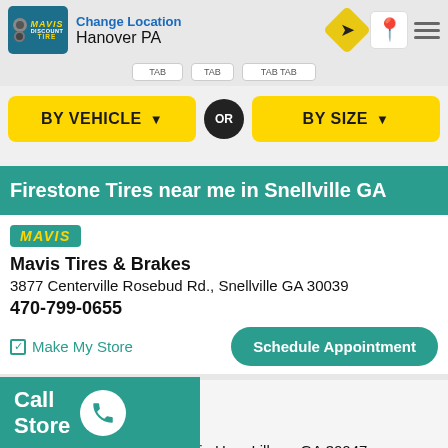Change Location | Hanover PA
[Figure (screenshot): Yellow vehicle search button and blue size search button with OR divider]
Firestone Tires near me in Snellville GA
[Figure (logo): Mavis badge logo teal background]
Mavis Tires & Brakes
3877 Centerville Rosebud Rd., Snellville GA 30039
470-799-0655
Make My Store | Schedule Appointment
[Figure (logo): Mavis badge logo teal background second store]
Mavis Tires & Brakes
[Mountain] Hwy, Lilburn GA 30047
Call Store